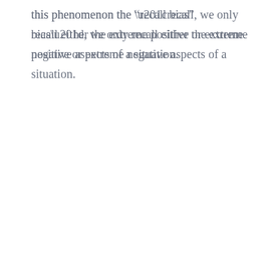this phenomenon the “recall bias”, we only recall either the extreme positive or extreme negative aspects of a situation.
As business owners, we have to stop thinking of our company’s story, but rather of how we can be an ally or a savior in our customer’s story. We have to begin to understand their stories, and figure out where exactly we fit in.
Chances are, we are going to be a character, we just don’t want to be cast as